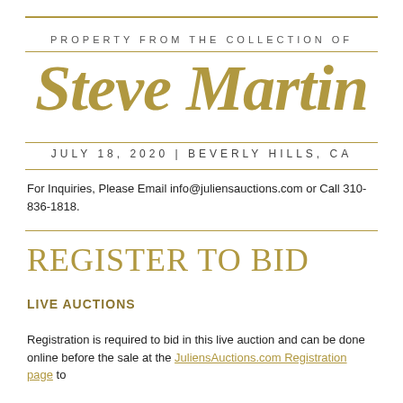PROPERTY FROM THE COLLECTION OF
Steve Martin
JULY 18, 2020 | BEVERLY HILLS, CA
For Inquiries, Please Email info@juliensauctions.com or Call 310-836-1818.
REGISTER TO BID
LIVE AUCTIONS
Registration is required to bid in this live auction and can be done online before the sale at the JuliensAuctions.com Registration page to